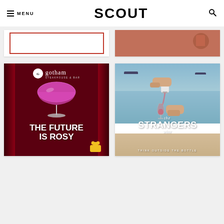MENU | SCOUT | [search icon]
[Figure (photo): Partial card image - top row left, white background with red border outline]
[Figure (photo): Partial card image - top row right, salmon/coral background with partial circular shape]
[Figure (illustration): Gotham Steakhouse & Bar advertisement: dark red background with stage curtains, pink cocktail in coupe glass, text 'THE FUTURE IS ROSY', Gotham logo with owl icon at top]
[Figure (photo): The Strangers Wine advertisement: beach scene with two hands, one pouring a canned drink into a wine glass, ocean and sky in background, text 'the STRANGERS wine - THINK OUTSIDE THE BOTTLE']